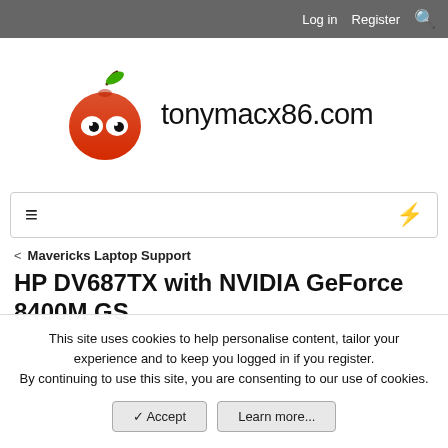Log in   Register
[Figure (logo): tonymacx86.com website logo with red apple mascot character with white eyes and green leaf]
tonymacx86.com
≡ ⚡
< Mavericks Laptop Support
HP DV687TX with NVIDIA GeForce 8400M GS
This site uses cookies to help personalise content, tailor your experience and to keep you logged in if you register.
By continuing to use this site, you are consenting to our use of cookies.
✓ Accept   Learn more...